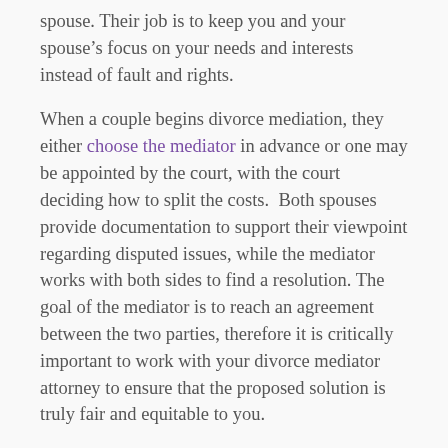spouse. Their job is to keep you and your spouse’s focus on your needs and interests instead of fault and rights.
When a couple begins divorce mediation, they either choose the mediator in advance or one may be appointed by the court, with the court deciding how to split the costs.  Both spouses provide documentation to support their viewpoint regarding disputed issues, while the mediator works with both sides to find a resolution. The goal of the mediator is to reach an agreement between the two parties, therefore it is critically important to work with your divorce mediator attorney to ensure that the proposed solution is truly fair and equitable to you.
Even when parting spouses disagree, a divorce